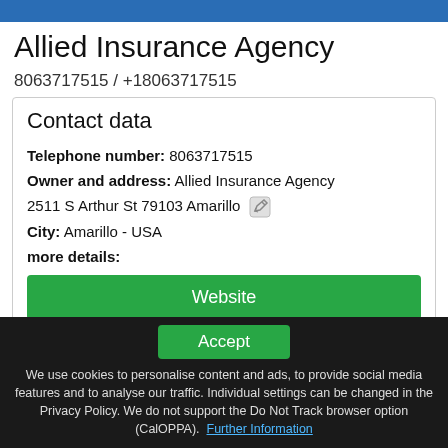Allied Insurance Agency
8063717515 / +18063717515
Contact data
Telephone number: 8063717515
Owner and address: Allied Insurance Agency 2511 S Arthur St 79103 Amarillo
City: Amarillo - USA
more details:
Website
This info is supplied without liability.
Accept
We use cookies to personalise content and ads, to provide social media features and to analyse our traffic. Individual settings can be changed in the Privacy Policy. We do not support the Do Not Track browser option (CalOPPA). Further Information